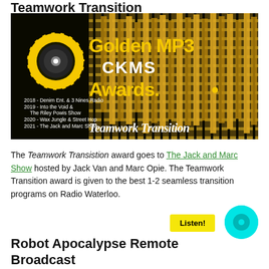Teamwork Transition
[Figure (photo): Golden MP3 CKMS Awards promotional image with a sunflower vinyl record logo on a dark background with gold equalizer bars. Shows past winners: 2018 - Denim Ent. & 3 Nines Radio, 2019 - Into the Void & The Riley Powis Show, 2020 - Wax Jungle & Street Hop, 2021 - The Jack and Marc Show. Text reads 'Teamwork Transition' at the bottom.]
The Teamwork Transistion award goes to The Jack and Marc Show hosted by Jack Van and Marc Opie. The Teamwork Transition award is given to the best 1-2 seamless transition programs on Radio Waterloo.
Robot Apocalypse Remote Broadcast